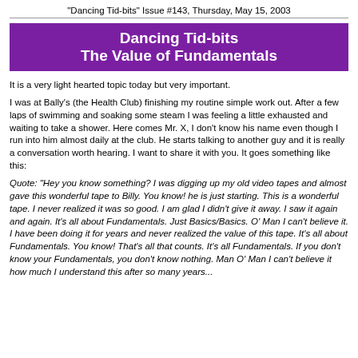"Dancing Tid-bits" Issue #143, Thursday, May 15, 2003
Dancing Tid-bits
The Value of Fundamentals
It is a very light hearted topic today but very important.
I was at Bally's (the Health Club) finishing my routine simple work out. After a few laps of swimming and soaking some steam I was feeling a little exhausted and waiting to take a shower. Here comes Mr. X, I don't know his name even though I run into him almost daily at the club. He starts talking to another guy and it is really a conversation worth hearing. I want to share it with you. It goes something like this:
Quote: "Hey you know something? I was digging up my old video tapes and almost gave this wonderful tape to Billy. You know! he is just starting. This is a wonderful tape. I never realized it was so good. I am glad I didn't give it away. I saw it again and again. It's all about Fundamentals. Just Basics/Basics. O' Man I can't believe it. I have been doing it for years and never realized the value of this tape. It's all about Fundamentals. You know! That's all that counts. It's all Fundamentals. If you don't know your Fundamentals, you don't know nothing. Man O' Man I can't believe it how much I understand this after so many years...